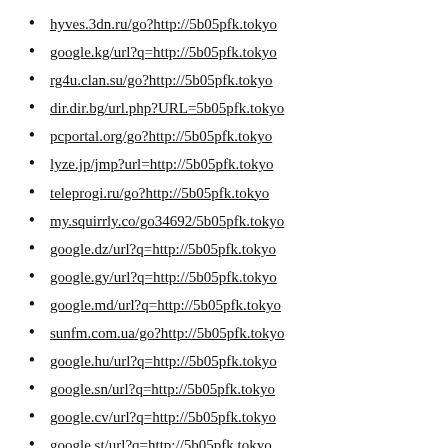hyves.3dn.ru/go?http://5b05pfk.tokyo
google.kg/url?q=http://5b05pfk.tokyo
rg4u.clan.su/go?http://5b05pfk.tokyo
dir.dir.bg/url.php?URL=5b05pfk.tokyo
pcportal.org/go?http://5b05pfk.tokyo
lyze.jp/jmp?url=http://5b05pfk.tokyo
teleprogi.ru/go?http://5b05pfk.tokyo
my.squirrly.co/go34692/5b05pfk.tokyo
google.dz/url?q=http://5b05pfk.tokyo
google.gy/url?q=http://5b05pfk.tokyo
google.md/url?q=http://5b05pfk.tokyo
sunfm.com.ua/go?http://5b05pfk.tokyo
google.hu/url?q=http://5b05pfk.tokyo
google.sn/url?q=http://5b05pfk.tokyo
google.cv/url?q=http://5b05pfk.tokyo
google.st/url?q=http://5b05pfk.tokyo
google.cf/url?q=http://5b05pfk.tokyo
google.bi/url?q=http://5b05pfk.tokyo
google.iq/url?q=http://5b05pfk.tokyo